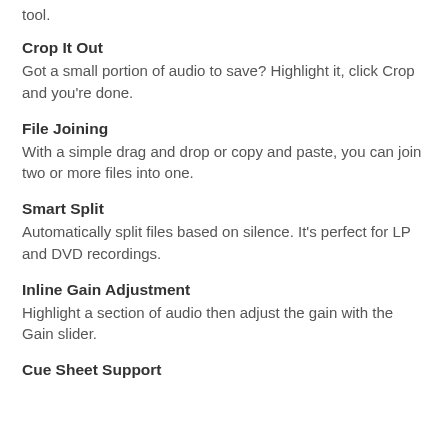tool.
Crop It Out
Got a small portion of audio to save? Highlight it, click Crop and you're done.
File Joining
With a simple drag and drop or copy and paste, you can join two or more files into one.
Smart Split
Automatically split files based on silence. It's perfect for LP and DVD recordings.
Inline Gain Adjustment
Highlight a section of audio then adjust the gain with the Gain slider.
Cue Sheet Support